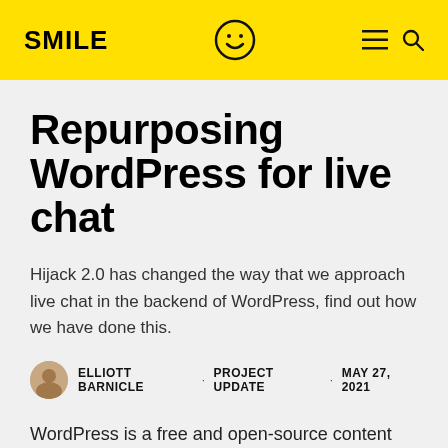SMILE
Repurposing WordPress for live chat
Hijack 2.0 has changed the way that we approach live chat in the backend of WordPress, find out how we have done this.
ELLIOTT BARNICLE · PROJECT UPDATE · MAY 27, 2021
WordPress is a free and open-source content management system. It is a powerful tool for